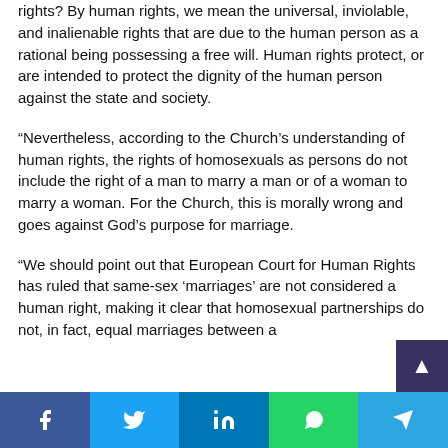rights? By human rights, we mean the universal, inviolable, and inalienable rights that are due to the human person as a rational being possessing a free will. Human rights protect, or are intended to protect the dignity of the human person against the state and society.
“Nevertheless, according to the Church’s understanding of human rights, the rights of homosexuals as persons do not include the right of a man to marry a man or of a woman to marry a woman. For the Church, this is morally wrong and goes against God’s purpose for marriage.
“We should point out that European Court for Human Rights has ruled that same-sex ‘marriages’ are not considered a human right, making it clear that homosexual partnerships do not, in fact, equal marriages between a